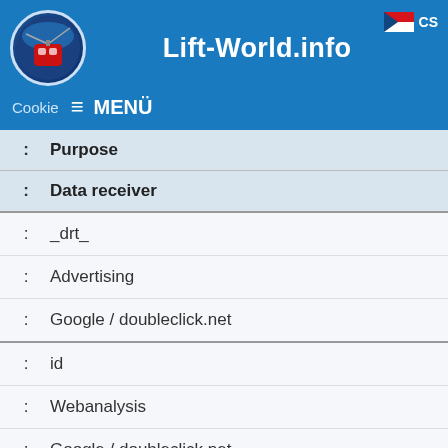Lift-World.info
|  | Purpose / Data receiver |
| --- | --- |
| : | Purpose |
| : | Data receiver |
| : | _drt_ |
| : | Advertising |
| : | Google / doubleclick.net |
| : | id |
| : | Webanalysis |
| : | Google / doubleclick.net |
How to manage cookies
You do not have to accept all cookies used by our website;